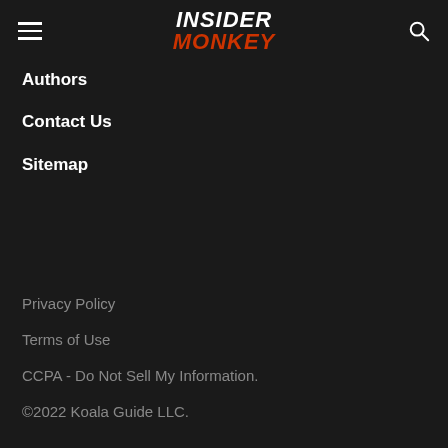INSIDER MONKEY
Authors
Contact Us
Sitemap
Privacy Policy
Terms of Use
CCPA - Do Not Sell My Information.
©2022 Koala Guide LLC.